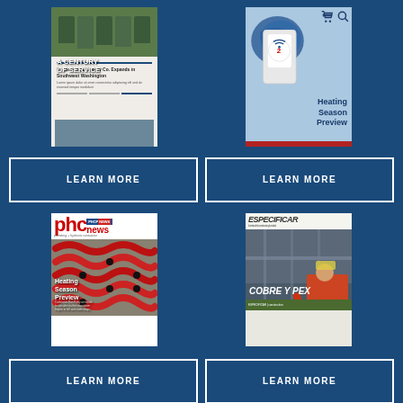[Figure (illustration): Magazine cover: A Century of Service - shows group photo and newsletter layout]
[Figure (illustration): Magazine cover: Heating Season Preview - blue background with globe and device imagery, cart and search icons]
LEARN MORE
LEARN MORE
[Figure (illustration): PHC News magazine cover: plumbing + hydronic contractor, red pipes, Heating Season Preview]
[Figure (illustration): Especificar magazine cover: COBRE Y PEX dos alternativas, worker with tool in construction setting]
LEARN MORE
LEARN MORE